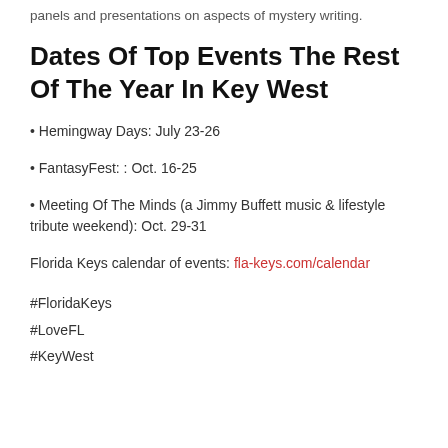panels and presentations on aspects of mystery writing.
Dates Of Top Events The Rest Of The Year In Key West
• Hemingway Days: July 23-26
• FantasyFest: : Oct. 16-25
• Meeting Of The Minds (a Jimmy Buffett music & lifestyle tribute weekend): Oct. 29-31
Florida Keys calendar of events: fla-keys.com/calendar
#FloridaKeys
#LoveFL
#KeyWest